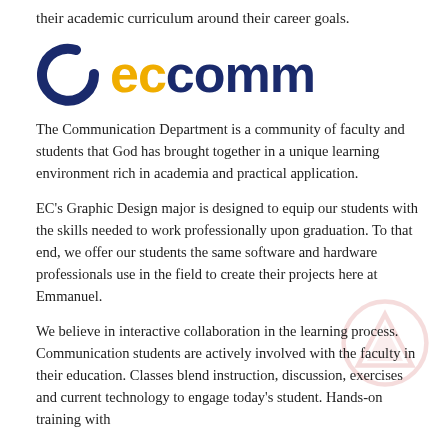their academic curriculum around their career goals.
[Figure (logo): eccomm logo: stylized C icon in dark navy blue on the left, followed by 'ec' in gold/yellow and 'comm' in dark navy blue in bold sans-serif text]
The Communication Department is a community of faculty and students that God has brought together in a unique learning environment rich in academia and practical application.
EC's Graphic Design major is designed to equip our students with the skills needed to work professionally upon graduation. To that end, we offer our students the same software and hardware professionals use in the field to create their projects here at Emmanuel.
We believe in interactive collaboration in the learning process. Communication students are actively involved with the faculty in their education. Classes blend instruction, discussion, exercises and current technology to engage today's student. Hands-on training with